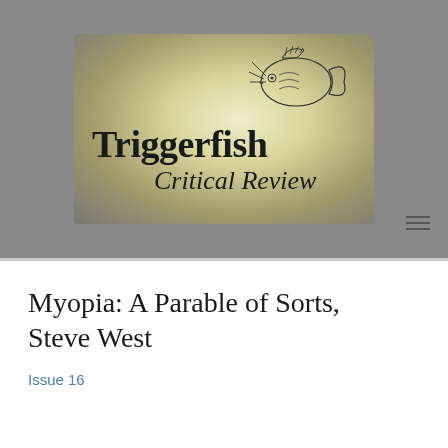[Figure (logo): Triggerfish Critical Review logo: a stylized fish illustration above large bold serif text 'Triggerfish' with cursive italic script 'Critical Review' below, set against a warm yellowish-green radial gradient background.]
Myopia: A Parable of Sorts, Steve West
Issue 16